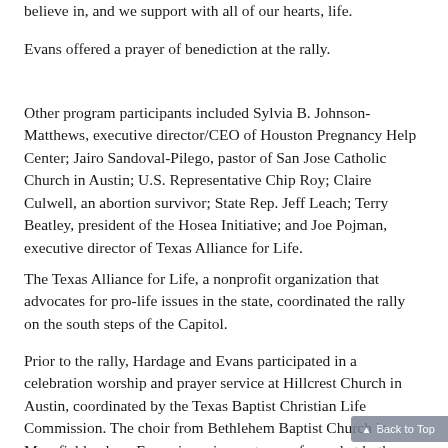believe in, and we support with all of our hearts, life.
Evans offered a prayer of benediction at the rally.
Other program participants included Sylvia B. Johnson-Matthews, executive director/CEO of Houston Pregnancy Help Center; Jairo Sandoval-Pilego, pastor of San Jose Catholic Church in Austin; U.S. Representative Chip Roy; Claire Culwell, an abortion survivor; State Rep. Jeff Leach; Terry Beatley, president of the Hosea Initiative; and Joe Pojman, executive director of Texas Alliance for Life.
The Texas Alliance for Life, a nonprofit organization that advocates for pro-life issues in the state, coordinated the rally on the south steps of the Capitol.
Prior to the rally, Hardage and Evans participated in a celebration worship and prayer service at Hillcrest Church in Austin, coordinated by the Texas Baptist Christian Life Commission. The choir from Bethlehem Baptist Church in Mansfield, where Evans is senior pastor, performed at both